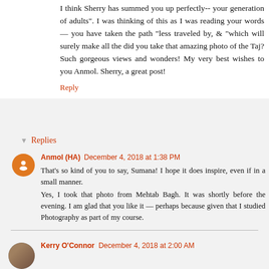I think Sherry has summed you up perfectly-- your genera adults". I was thinking of this as I was reading your wor taken the path "less traveled by, & "which will surely mak did you take that amazing photo of the Taj? Such gorgeous wonders! My very best wishes to you Anmol. Sherry, a grea
Reply
Replies
Anmol (HA)  December 4, 2018 at 1:38 PM
That's so kind of you to say, Sumana! I hope it d even if in a small manner.
Yes, I took that photo from Mehtab Bagh. It was s the evening. I am glad that you like it — perhaps b given that I studied Photography as part of my cour
Reply
Kerry O'Connor  December 4, 2018 at 2:00 AM